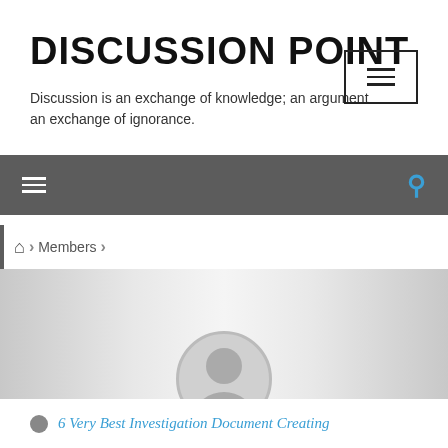DISCUSSION POINT
Discussion is an exchange of knowledge; an argument an exchange of ignorance.
[Figure (other): Hamburger menu button icon in a rectangular border]
[Figure (other): Dark grey navigation bar with hamburger menu icon on left and blue search icon on right]
Members
[Figure (other): Profile banner with gradient grey background and a circular avatar placeholder showing a person silhouette]
6 Very Best Investigation Document Creating